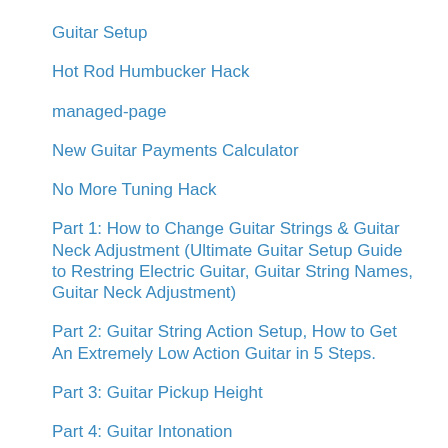Guitar Setup
Hot Rod Humbucker Hack
managed-page
New Guitar Payments Calculator
No More Tuning Hack
Part 1: How to Change Guitar Strings & Guitar Neck Adjustment (Ultimate Guitar Setup Guide to Restring Electric Guitar, Guitar String Names, Guitar Neck Adjustment)
Part 2: Guitar String Action Setup, How to Get An Extremely Low Action Guitar in 5 Steps.
Part 3: Guitar Pickup Height
Part 4: Guitar Intonation